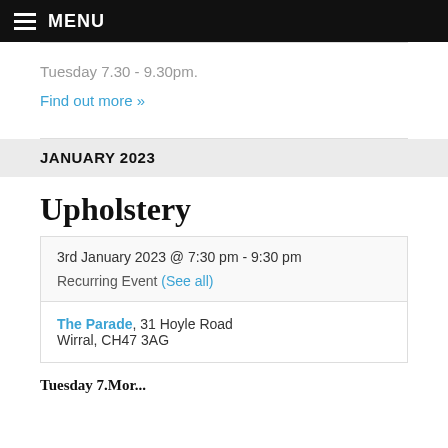MENU
Tuesday 7.30 - 9.30pm.
Find out more »
JANUARY 2023
Upholstery
3rd January 2023 @ 7:30 pm - 9:30 pm
Recurring Event (See all)
The Parade, 31 Hoyle Road Wirral, CH47 3AG
Tuesday 7.Mor...